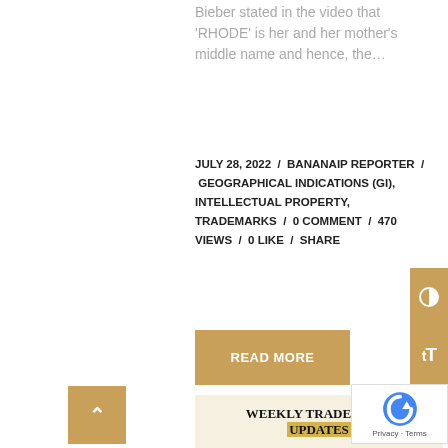Bieber stated in the video that 'RHODE' is her and her mother's middle name and hence, the…
JULY 28, 2022 / BANANAIP REPORTER / GEOGRAPHICAL INDICATIONS (GI), INTELLECTUAL PROPERTY, TRADEMARKS / 0 COMMENT / 470 VIEWS / 0 LIKE / SHARE
READ MORE
[Figure (screenshot): Weekly Trademark Updates banner with golden/beige background and bold serif title]
[Figure (other): Right-side toolbar with contrast and font-size toggle buttons in golden color]
[Figure (other): Back to top button (golden square with up arrow) and reCAPTCHA badge]